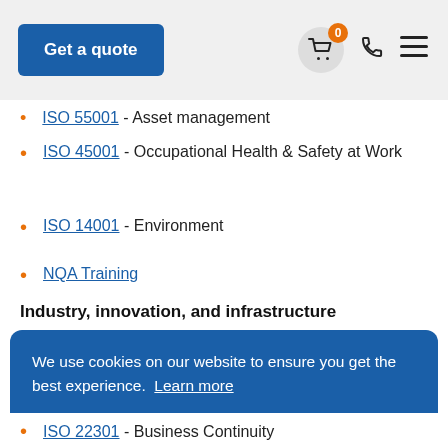Get a quote
ISO 45001 - Occupational Health & Safety at Work
ISO 14001 - Environment
NQA Training
Industry, innovation, and infrastructure
We use cookies on our website to ensure you get the best experience. Learn more
Accept
ISO 22301 - Business Continuity